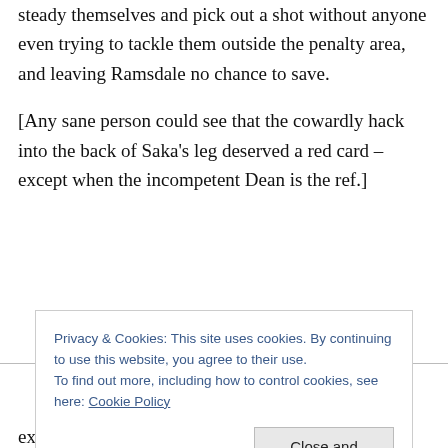steady themselves and pick out a shot without anyone even trying to tackle them outside the penalty area, and leaving Ramsdale no chance to save.
[Any sane person could see that the cowardly hack into the back of Saka's leg deserved a red card – except when the incompetent Dean is the ref.]
Privacy & Cookies: This site uses cookies. By continuing to use this website, you agree to their use.
To find out more, including how to control cookies, see here: Cookie Policy
explanation.